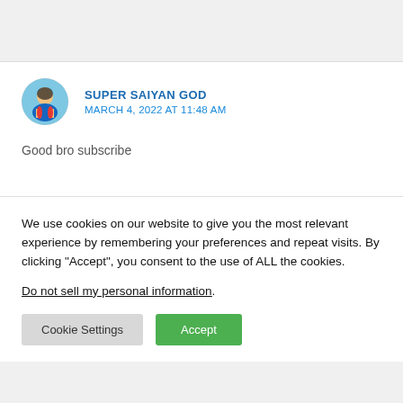SUPER SAIYAN GOD
MARCH 4, 2022 AT 11:48 AM

Good bro subscribe
We use cookies on our website to give you the most relevant experience by remembering your preferences and repeat visits. By clicking “Accept”, you consent to the use of ALL the cookies.
Do not sell my personal information.
Cookie Settings
Accept